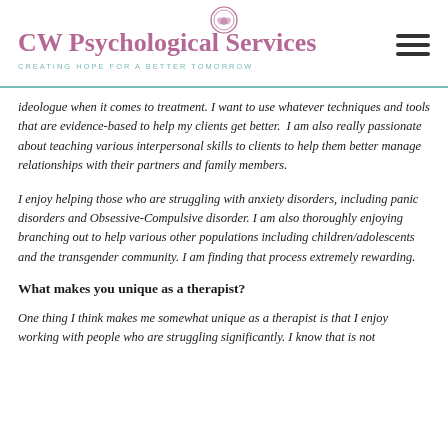CW Psychological Services — CREATING HOPE FOR A BETTER TOMORROW
ideologue when it comes to treatment. I want to use whatever techniques and tools that are evidence-based to help my clients get better. I am also really passionate about teaching various interpersonal skills to clients to help them better manage relationships with their partners and family members.
I enjoy helping those who are struggling with anxiety disorders, including panic disorders and Obsessive-Compulsive disorder. I am also thoroughly enjoying branching out to help various other populations including children/adolescents and the transgender community. I am finding that process extremely rewarding.
What makes you unique as a therapist?
One thing I think makes me somewhat unique as a therapist is that I enjoy working with people who are struggling significantly. I know that is not